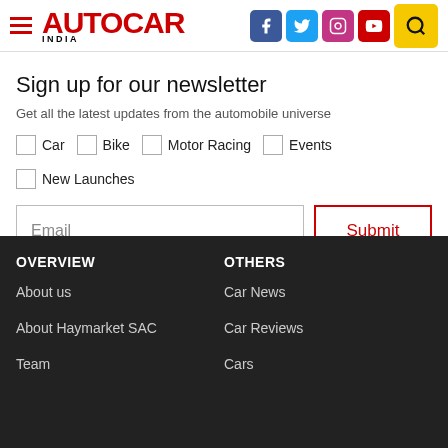AUTOCAR INDIA — navigation header with social icons
Sign up for our newsletter
Get all the latest updates from the automobile universe
Car
Bike
Motor Racing
Events
New Launches
Email
Submit
OVERVIEW
About us
About Haymarket SAC
Team
OTHERS
Car News
Car Reviews
Cars